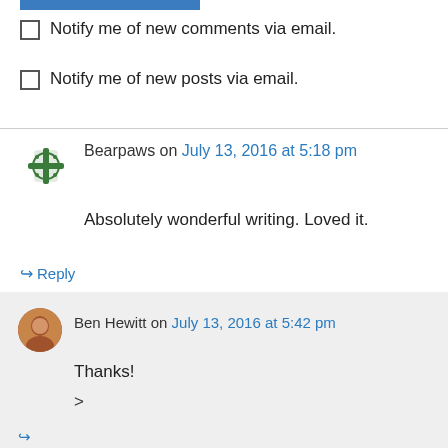[Figure (other): Blue decorative bar at top]
Notify me of new comments via email.
Notify me of new posts via email.
Bearpaws on July 13, 2016 at 5:18 pm
Absolutely wonderful writing. Loved it.
Reply
Ben Hewitt on July 13, 2016 at 5:42 pm
Thanks!
>